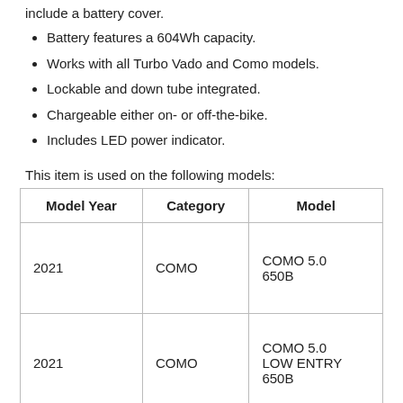include a battery cover.
Battery features a 604Wh capacity.
Works with all Turbo Vado and Como models.
Lockable and down tube integrated.
Chargeable either on- or off-the-bike.
Includes LED power indicator.
This item is used on the following models:
| Model Year | Category | Model |
| --- | --- | --- |
| 2021 | COMO | COMO 5.0 650B |
| 2021 | COMO | COMO 5.0 LOW ENTRY 650B |
|  |  | COMO 5.0 |